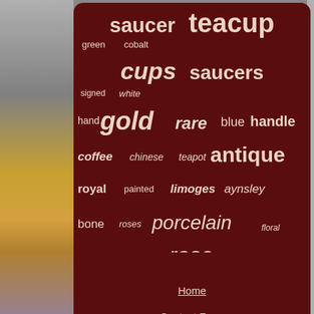[Figure (infographic): Tag cloud on dark red background with words: saucer, teacup, green, cobalt, cups, saucers, signed, white, hand, gold, rare, blue, handle, coffee, chinese, teapot, antique, royal, painted, limoges, aynsley, bone, roses, porcelain, floral, rose]
Home
Contact Form
Privacy Policy Agreement
Terms of service